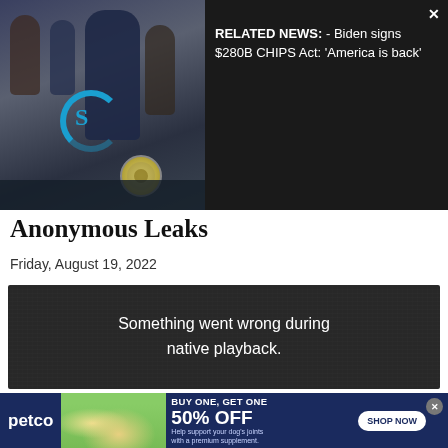[Figure (screenshot): News overlay showing Biden signing ceremony photo with blue circular logo and gold presidential seal, with related news text: 'RELATED NEWS: - Biden signs $280B CHIPS Act: America is back']
Anonymous Leaks
Friday, August 19, 2022
[Figure (screenshot): Dark video player with error message: 'Something went wrong during native playback.']
[Figure (screenshot): Petco advertisement: BUY ONE, GET ONE 50% OFF. Help support your dog's joints with a premium supplement. SHOP NOW]